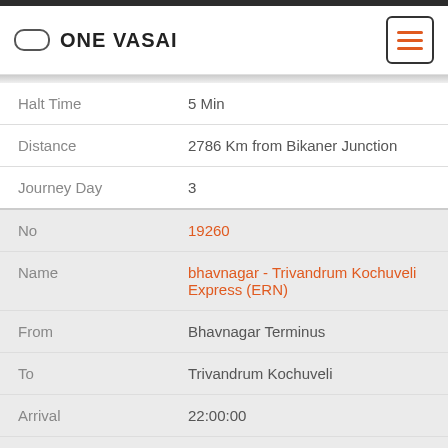ONE VASAI
| Field | Value |
| --- | --- |
| Halt Time | 5 Min |
| Distance | 2786 Km from Bikaner Junction |
| Journey Day | 3 |
| Field | Value |
| --- | --- |
| No | 19260 |
| Name | bhavnagar - Trivandrum Kochuveli Express (ERN) |
| From | Bhavnagar Terminus |
| To | Trivandrum Kochuveli |
| Arrival | 22:00:00 |
| Departure | 22:05:00 |
| DaysOfWeek | Su |
| Halt Time | 5 Min |